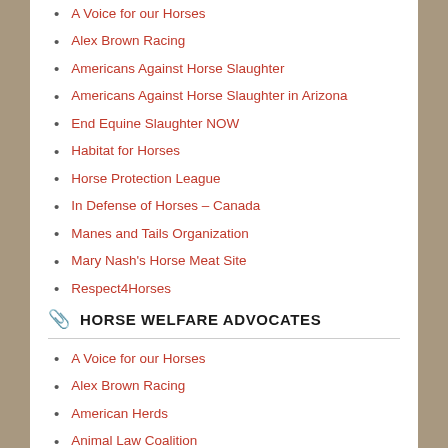A Voice for our Horses
Alex Brown Racing
Americans Against Horse Slaughter
Americans Against Horse Slaughter in Arizona
End Equine Slaughter NOW
Habitat for Horses
Horse Protection League
In Defense of Horses – Canada
Manes and Tails Organization
Mary Nash's Horse Meat Site
Respect4Horses
Shedrow Confessions
HORSE WELFARE ADVOCATES
A Voice for our Horses
Alex Brown Racing
American Herds
Animal Law Coalition
Corolla Wild Horse Fund
Equine Welfare Alliance